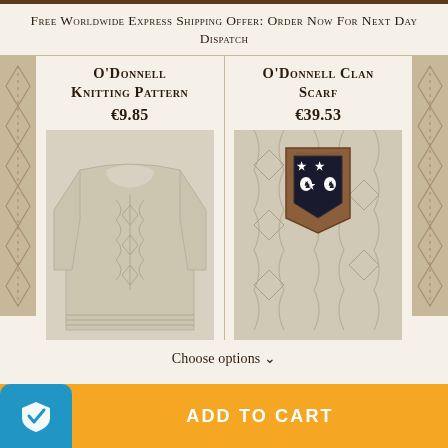Free Worldwide Express Shipping Offer: Order Now For Next Day Dispatch
O'Donnell Knitting Pattern
€9.85
[Figure (photo): Cream-colored Aran cable-knit sweater laid flat on white background]
O'Donnell Clan Scarf
€39.53
[Figure (photo): Close-up of cream Aran cable-knit fabric with a wooden shield plaque displaying the O'Donnell clan heraldry — black background with stars and lions]
Choose options ∨
ADD TO CART